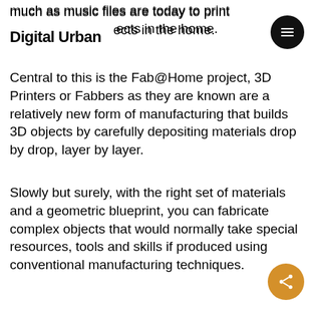Digital Urban
much as music files are today to print objects in the home.
Central to this is the Fab@Home project, 3D Printers or Fabbers as they are known are a relatively new form of manufacturing that builds 3D objects by carefully depositing materials drop by drop, layer by layer.
Slowly but surely, with the right set of materials and a geometric blueprint, you can fabricate complex objects that would normally take special resources, tools and skills if produced using conventional manufacturing techniques.